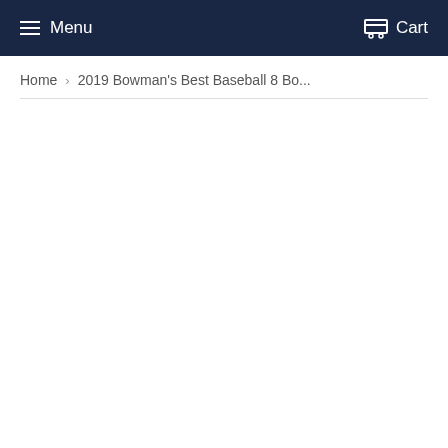Menu  Cart
Home › 2019 Bowman's Best Baseball 8 Bo...